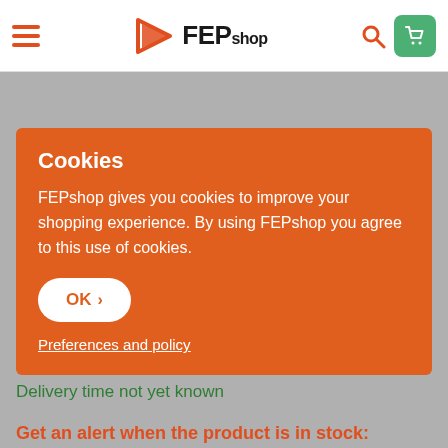[Figure (logo): FEPshop logo with orange triangle/arrow icon and bold FEP text with smaller 'shop' text]
Cookies
FEPshop gives you cookies to improve your shopping experience. By using FEPshop you agree to this use of cookies.
OK >
Preferences and policy
€131,40 Tax excluded
Delivery time not yet known
Get an alert when the product is in stock: